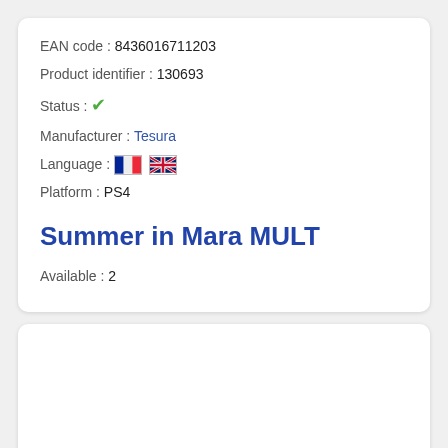EAN code :  8436016711203
Product identifier :  130693
Status :  ✔
Manufacturer :  Tesura
Language :  [FR flag] [UK flag]
Platform :  PS4
Summer in Mara MULT
Available :  2